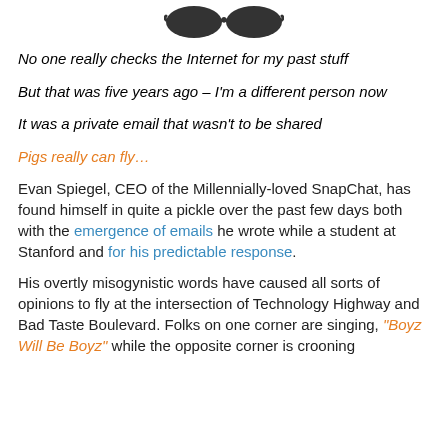[Figure (illustration): Black illustrated sunglasses / goggles shape at top of page]
No one really checks the Internet for my past stuff
But that was five years ago – I'm a different person now
It was a private email that wasn't to be shared
Pigs really can fly…
Evan Spiegel, CEO of the Millennially-loved SnapChat, has found himself in quite a pickle over the past few days both with the emergence of emails he wrote while a student at Stanford and for his predictable response.
His overtly misogynistic words have caused all sorts of opinions to fly at the intersection of Technology Highway and Bad Taste Boulevard. Folks on one corner are singing, "Boyz Will Be Boyz" while the opposite corner is crooning